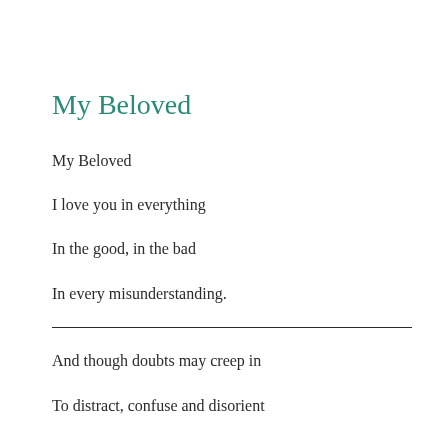My Beloved
My Beloved
I love you in everything
In the good, in the bad
In every misunderstanding.
And though doubts may creep in
To distract, confuse and disorient